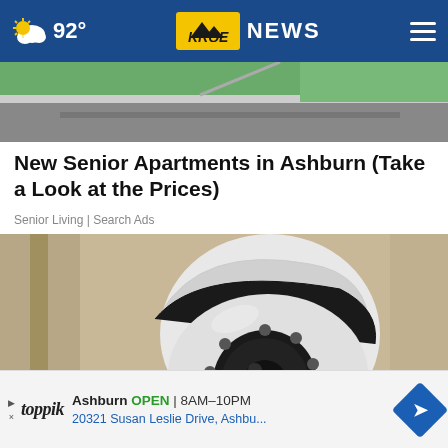92° KRQE NEWS
[Figure (photo): Aerial/street view photo showing road, curb, sidewalk, and green grass — top portion of an advertisement card]
New Senior Apartments in Ashburn (Take a Look at the Prices)
Senior Living | Search Ads
[Figure (photo): Close-up photo of a white dome security/surveillance camera mounted on a beige wall, with multiple IR LEDs visible]
Ashburn OPEN 8AM–10PM 20321 Susan Leslie Drive, Ashbu...